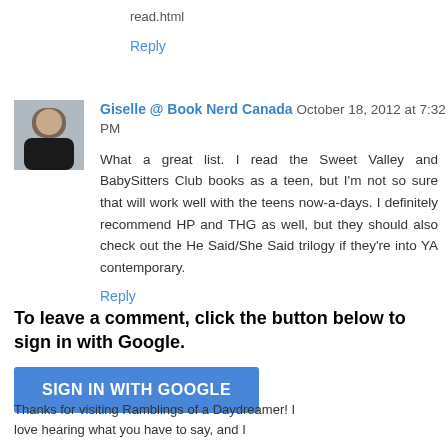read.html
Reply
Giselle @ Book Nerd Canada October 18, 2012 at 7:32 PM
What a great list. I read the Sweet Valley and BabySitters Club books as a teen, but I'm not so sure that will work well with the teens now-a-days. I definitely recommend HP and THG as well, but they should also check out the He Said/She Said trilogy if they're into YA contemporary.
Reply
To leave a comment, click the button below to sign in with Google.
SIGN IN WITH GOOGLE
Thanks for visiting Ramblings of a Daydreamer! I love hearing what you have to say, and I